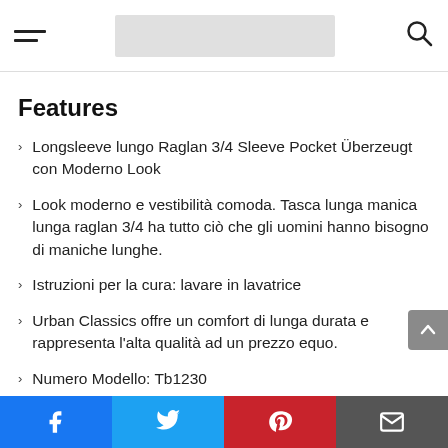[hamburger menu] [logo/search bar] [search icon]
Features
Longsleeve lungo Raglan 3/4 Sleeve Pocket Überzeugt con Moderno Look
Look moderno e vestibilità comoda. Tasca lunga manica lunga raglan 3/4 ha tutto ciò che gli uomini hanno bisogno di maniche lunghe.
Istruzioni per la cura: lavare in lavatrice
Urban Classics offre un comfort di lunga durata e rappresenta l'alta qualità ad un prezzo equo.
Numero Modello: Tb1230
Facebook | Twitter | Pinterest | Email